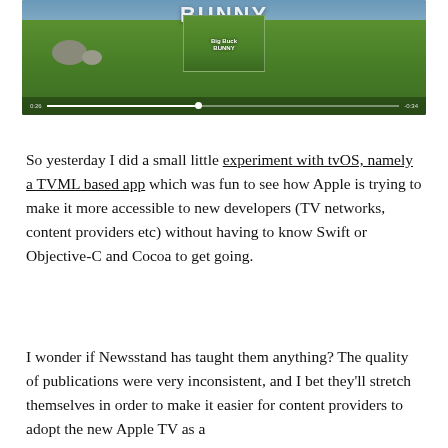[Figure (screenshot): Video player showing Big Buck Bunny animation. The frame shows a green landscape scene. A progress bar is visible at the bottom showing time 0:26 on left and -0:34 on right. A thumbnail preview overlay is shown above the scrubber head.]
So yesterday I did a small little experiment with tvOS, namely a TVML based app which was fun to see how Apple is trying to make it more accessible to new developers (TV networks, content providers etc) without having to know Swift or Objective-C and Cocoa to get going.
I wonder if Newsstand has taught them anything? The quality of publications were very inconsistent, and I bet they'll stretch themselves in order to make it easier for content providers to adopt the new Apple TV as a